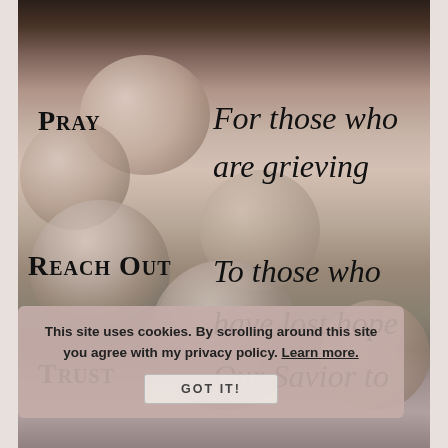[Figure (photo): Background photo of decorative Christmas ornament balls in muted gold, rose, and gray tones, overlaid with text]
Pray  For those who are grieving
Reach Out  To those who have lost hope
Trust  Our Savior to
This site uses cookies. By scrolling around this site you agree with my privacy policy. Learn more.  GOT IT!